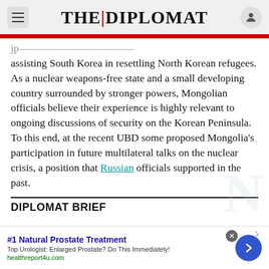THE DIPLOMAT
assisting South Korea in resettling North Korean refugees. As a nuclear weapons-free state and a small developing country surrounded by stronger powers, Mongolian officials believe their experience is highly relevant to ongoing discussions of security on the Korean Peninsula. To this end, at the recent UBD some proposed Mongolia’s participation in future multilateral talks on the nuclear crisis, a position that Russian officials supported in the past.
DIPLOMAT BRIEF
[Figure (screenshot): Advertisement banner: #1 Natural Prostate Treatment. Top Urologist: Enlarged Prostate? Do This Immediately! healthreport4u.com]